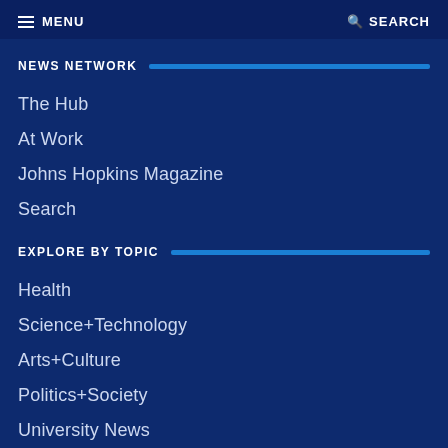MENU   SEARCH
NEWS NETWORK
The Hub
At Work
Johns Hopkins Magazine
Search
EXPLORE BY TOPIC
Health
Science+Technology
Arts+Culture
Politics+Society
University News
Student Life
Athletics
Voices+Opinion